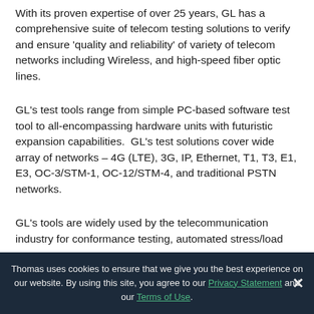With its proven expertise of over 25 years, GL has a comprehensive suite of telecom testing solutions to verify and ensure 'quality and reliability' of variety of telecom networks including Wireless, and high-speed fiber optic lines.
GL's test tools range from simple PC-based software test tool to all-encompassing hardware units with futuristic expansion capabilities.  GL's test solutions cover wide array of networks – 4G (LTE), 3G, IP, Ethernet, T1, T3, E1, E3, OC-3/STM-1, OC-12/STM-4, and traditional PSTN networks.
GL's tools are widely used by the telecommunication industry for conformance testing, automated stress/load
Thomas uses cookies to ensure that we give you the best experience on our website. By using this site, you agree to our Privacy Statement and our Terms of Use.